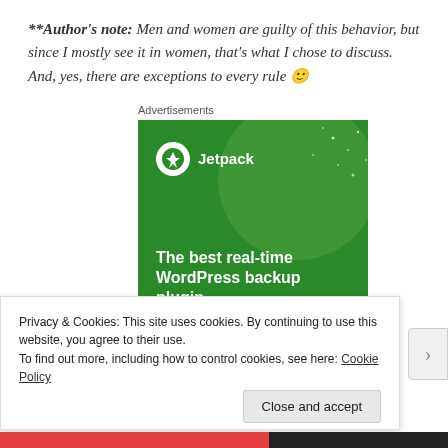**Author's note: Men and women are guilty of this behavior, but since I mostly see it in women, that's what I chose to discuss. And, yes, there are exceptions to every rule 🙂
Advertisements
[Figure (illustration): Jetpack WordPress plugin advertisement banner on green background with logo and text 'The best real-time WordPress backup plugin']
Privacy & Cookies: This site uses cookies. By continuing to use this website, you agree to their use.
To find out more, including how to control cookies, see here: Cookie Policy